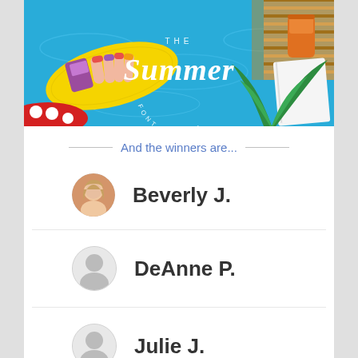[Figure (illustration): The Summer Font Bundle promotional banner image showing a pool scene with yellow float, hands with colorful nails, tropical plants, drinks, and cursive 'Summer' text overlay]
And the winners are...
Beverly J.
DeAnne P.
Julie J.